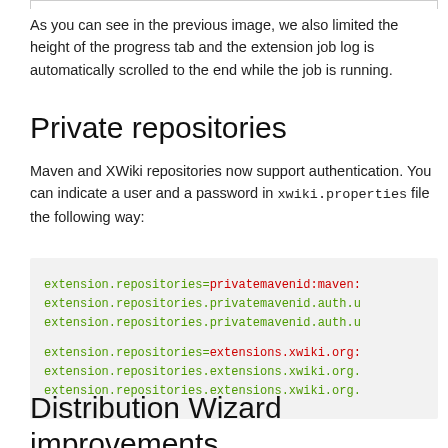As you can see in the previous image, we also limited the height of the progress tab and the extension job log is automatically scrolled to the end while the job is running.
Private repositories
Maven and XWiki repositories now support authentication. You can indicate a user and a password in xwiki.properties file the following way:
[Figure (screenshot): Code block showing extension.repositories configuration lines with green and red colored monospace text on a light grey background. Lines include extension.repositories=privatemavenid:maven:..., extension.repositories.privatemavenid.auth.u... (two lines), a blank line, then extension.repositories=extensions.xwiki.org:... and extension.repositories.extensions.xwiki.org. (two lines).]
Distribution Wizard improvements